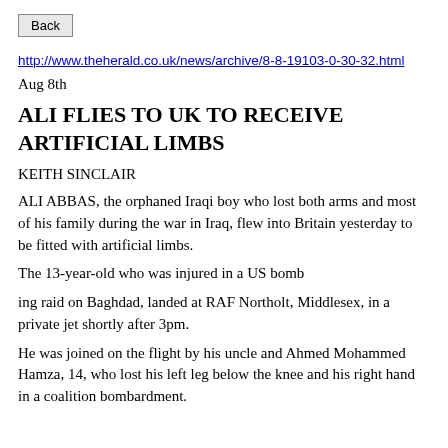Back
http://www.theherald.co.uk/news/archive/8-8-19103-0-30-32.html
Aug 8th
ALI FLIES TO UK TO RECEIVE ARTIFICIAL LIMBS
KEITH SINCLAIR
ALI ABBAS, the orphaned Iraqi boy who lost both arms and most of his family during the war in Iraq, flew into Britain yesterday to be fitted with artificial limbs.
The 13-year-old who was injured in a US bomb
ing raid on Baghdad, landed at RAF Northolt, Middlesex, in a private jet shortly after 3pm.
He was joined on the flight by his uncle and Ahmed Mohammed Hamza, 14, who lost his left leg below the knee and his right hand in a coalition bombardment.